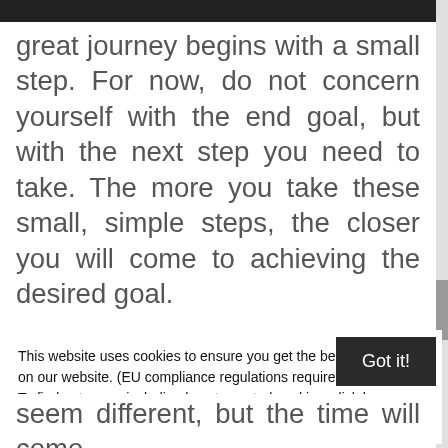great journey begins with a small step. For now, do not concern yourself with the end goal, but with the next step you need to take. The more you take these small, simple steps, the closer you will come to achieving the desired goal.
Jealousy, anger and other negative feelings, thoughts, actions and
This website uses cookies to ensure you get the best experience on our website. (EU compliance regulations require this notice.) To find out more, including how to control cookies, click here: Cookie Policy
Got it!
seem different, but the time will come